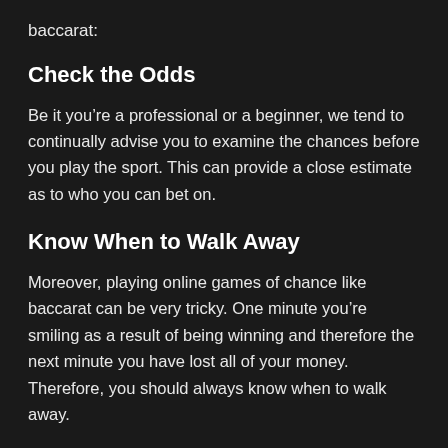baccarat:
Check the Odds
Be it you’re a professional or a beginner, we tend to continually advise you to examine the chances before you play the sport. This can provide a close estimate as to who you can bet on.
Know When to Walk Away
Moreover, playing online games of chance like baccarat can be very tricky. One minute you’re smiling as a result of being winning and therefore the next minute you have lost all of your money. Therefore, you should always know when to walk away.